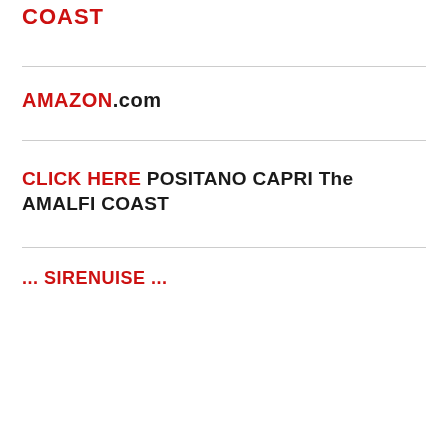COAST
AMAZON.com
CLICK HERE POSITANO CAPRI The AMALFI COAST
SIRENUISE ...